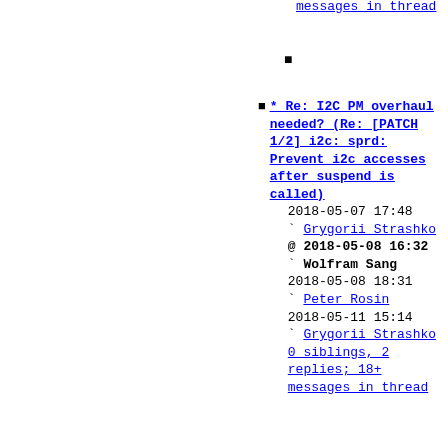messages in thread (link at top)
bullet point (small black square)
* Re: I2C PM overhaul needed? (Re: [PATCH 1/2] i2c: sprd: Prevent i2c accesses after suspend is called) 2018-05-07 17:48 ` Grygorii Strashko @ 2018-05-08 16:32 ` Wolfram Sang 2018-05-08 18:31 ` Peter Rosin 2018-05-11 15:14 ` Grygorii Strashko 0 siblings, 2 replies; 18+ messages in thread